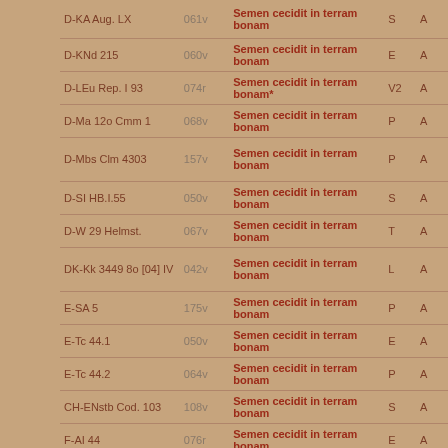| Source | Folio | Incipit | Type | ? |
| --- | --- | --- | --- | --- |
| D-KA Aug. LX | 061v | Semen cecidit in terram bonam | S | A |
| D-KNd 215 | 060v | Semen cecidit in terram bonam | E | A |
| D-LEu Rep. I 93 | 074r | Semen cecidit in terram bonam* | V2 | A |
| D-Ma 12o Cmm 1 | 068v | Semen cecidit in terram bonam | P | A |
| D-Mbs Clm 4303 | 157v | Semen cecidit in terram bonam | P | A |
| D-SI HB.I.55 | 050v | Semen cecidit in terram bonam | S | A |
| D-W 29 Helmst. | 067v | Semen cecidit in terram bonam | T | A |
| DK-Kk 3449 8o [04] IV | 042v | Semen cecidit in terram bonam | L | A |
| E-SA 5 | 175v | Semen cecidit in terram bonam | P | A |
| E-Tc 44.1 | 050v | Semen cecidit in terram bonam | E | A |
| E-Tc 44.2 | 064v | Semen cecidit in terram bonam | P | A |
| CH-ENstb Cod. 103 | 108v | Semen cecidit in terram bonam | S | A |
| F-AI 44 | 076r | Semen cecidit in terram bonam | E | A |
| F-AS 893 | 103v | Semen cecidit in terram bonam | M | A |